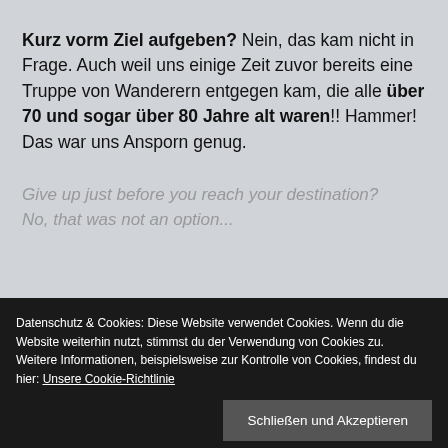Kurz vorm Ziel aufgeben? Nein, das kam nicht in Frage. Auch weil uns einige Zeit zuvor bereits eine Truppe von Wanderern entgegen kam, die alle über 70 und sogar über 80 Jahre alt waren!! Hammer! Das war uns Ansporn genug.
Give up just before you reach your destination? No, that was not an option...
Datenschutz & Cookies: Diese Website verwendet Cookies. Wenn du die Website weiterhin nutzt, stimmst du der Verwendung von Cookies zu.
Weitere Informationen, beispielsweise zur Kontrolle von Cookies, findest du hier: Unsere Cookie-Richtlinie
Schließen und Akzeptieren
[Figure (photo): Photo strip at bottom showing green jungle/forest vegetation]